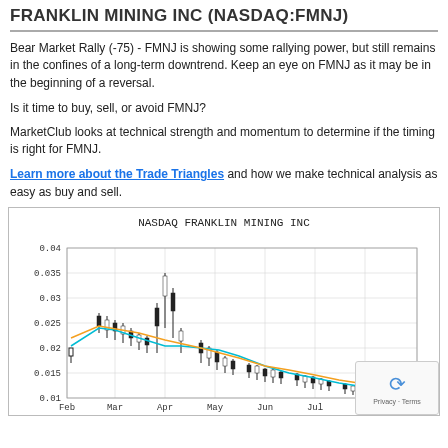FRANKLIN MINING INC (NASDAQ:FMNJ)
Bear Market Rally (-75) - FMNJ is showing some rallying power, but still remains in the confines of a long-term downtrend. Keep an eye on FMNJ as it may be in the beginning of a reversal.
Is it time to buy, sell, or avoid FMNJ?
MarketClub looks at technical strength and momentum to determine if the timing is right for FMNJ.
Learn more about the Trade Triangles and how we make technical analysis as easy as buy and sell.
[Figure (continuous-plot): Candlestick chart titled 'NASDAQ FRANKLIN MINING INC' showing price data from February to September. Y-axis shows price values from 0.01 to 0.04. Chart shows declining trend with candlestick bars and two moving average lines (cyan/teal and orange/yellow). Price starts around 0.025-0.03 in February/March, peaks near 0.035 in April/May, then declines to around 0.01 by August/September.]